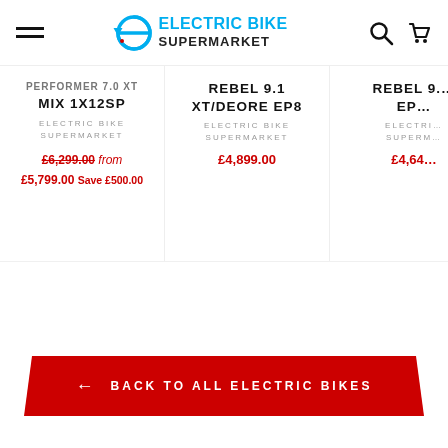Electric Bike Supermarket — navigation header with logo, hamburger menu, search and cart icons
PERFORMER 7.0 XT MIX 1X12SP
ELECTRIC BIKE SUPERMARKET
£6,299.00 from £5,799.00 Save £500.00
REBEL 9.1 XT/DEORE EP8
ELECTRIC BIKE SUPERMARKET
£4,899.00
REBEL 9... EP...
ELECTRIC BIKE SUPERMARKET
£4,64...
← BACK TO ALL ELECTRIC BIKES